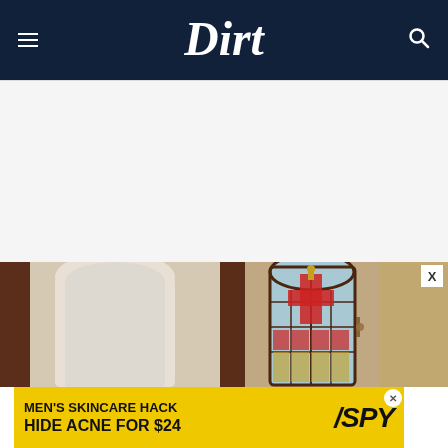Dirt
[Figure (photo): Interior photo showing a doorway with arched white architectural detail and a stained glass window panel with colorful red and gold design]
[Figure (screenshot): Advertisement banner: MEN'S SKINCARE HACK HIDE ACNE FOR $24 with SPY branding on yellow background]